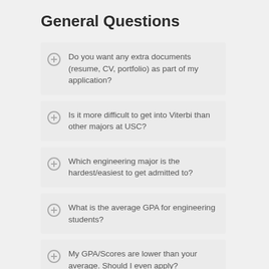General Questions
Do you want any extra documents (resume, CV, portfolio) as part of my application?
Is it more difficult to get into Viterbi than other majors at USC?
Which engineering major is the hardest/easiest to get admitted to?
What is the average GPA for engineering students?
My GPA/Scores are lower than your average. Should I even apply?
What are the min/max number of